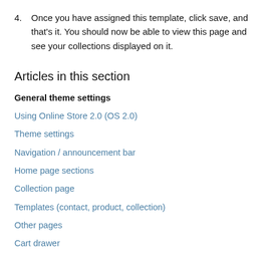4. Once you have assigned this template, click save, and that's it. You should now be able to view this page and see your collections displayed on it.
Articles in this section
General theme settings
Using Online Store 2.0 (OS 2.0)
Theme settings
Navigation / announcement bar
Home page sections
Collection page
Templates (contact, product, collection)
Other pages
Cart drawer